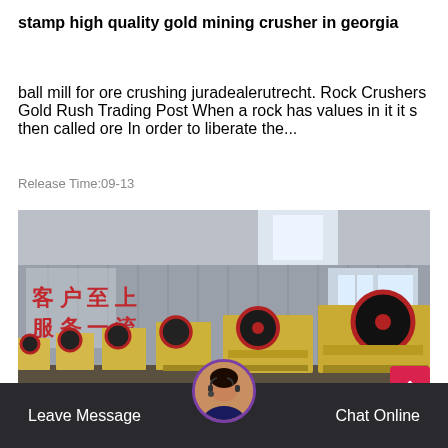stamp high quality gold mining crusher in georgia
ball mill for ore crushing juradealerutrecht. Rock Crushers Gold Rush Trading Post When a rock has values in it it s then called ore In order to liberate the...
Release Time:09-13
[Figure (photo): Industrial factory floor showing a row of yellow jaw crusher machines with red and black flywheels, lined up inside a large warehouse. Chinese text on wall reads customer service first class.]
Leave Message   Chat Online